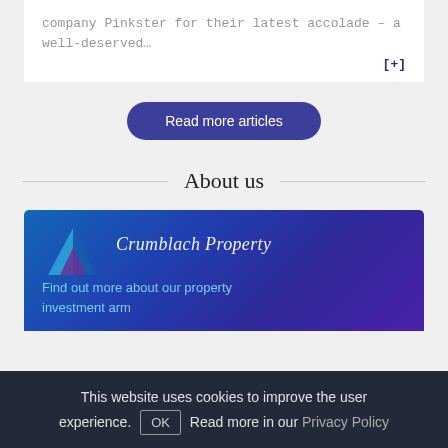company Pinkster for their latest accolade – a well-deserved…
[+]
Read more articles
About us
[Figure (logo): Blue and purple triangular logo with company name 'Crumblack Property' or similar on blue gradient background]
Find out more about our property investment arm
This website uses cookies to improve the user experience. OK Read more in our Privacy Policy